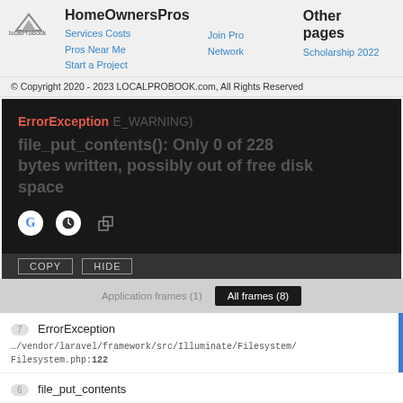[Figure (logo): LocalProBook triangle logo with mountain/arrow shape]
HomeOwnersPros
Other pages
Services Costs
Pros Near Me
Start a Project
Join Pro Network
Scholarship 2022
© Copyright 2020 - 2023 LOCALPROBOOK.com, All Rights Reserved
[Figure (screenshot): Dark error pane showing ErrorException (E_WARNING) with message: file_put_contents(): Only 0 of 228 bytes written, possibly out of free disk space. Icons for Google, and other tools. COPY and HIDE buttons at bottom.]
Application frames (1)
All frames (8)
7  ErrorException
.../vendor/laravel/framework/src/Illuminate/Filesystem/Filesystem.php:122
6  file_put_contents